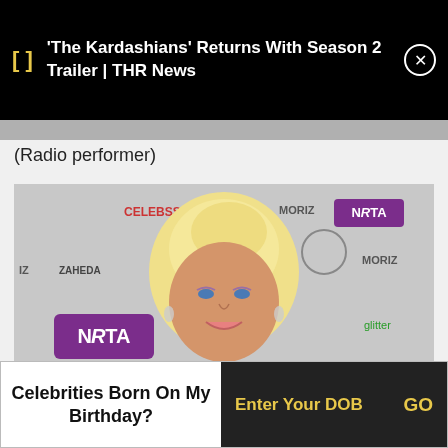'The Kardashians' Returns With Season 2 Trailer | THR News
(Radio performer)
[Figure (photo): A blonde woman in a silver off-shoulder dress posing at an event with NRTA, CELEBSSS, ZAHEDA, MORIZ, glitter, and other sponsor logos on a step-and-repeat banner backdrop.]
Celebrities Born On My Birthday?
Enter Your DOB
GO